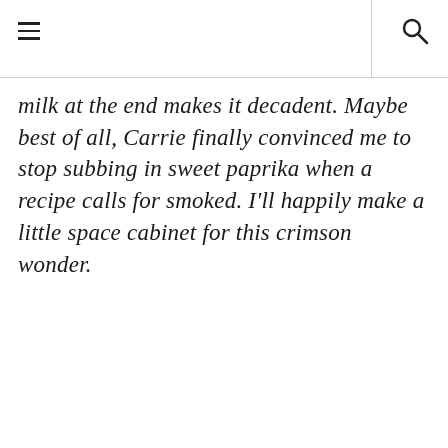milk at the end makes it decadent. Maybe best of all, Carrie finally convinced me to stop subbing in sweet paprika when a recipe calls for smoked. I'll happily make a little space cabinet for this crimson wonder.